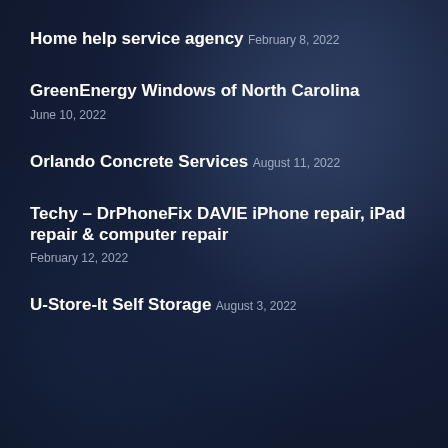Home help service agency
February 8, 2022
GreenEnergy Windows of North Carolina
June 10, 2022
Orlando Concrete Services
August 11, 2022
Techy – DrPhoneFix DAVIE iPhone repair, iPad repair & computer repair
February 12, 2022
U-Store-It Self Storage
August 3, 2022